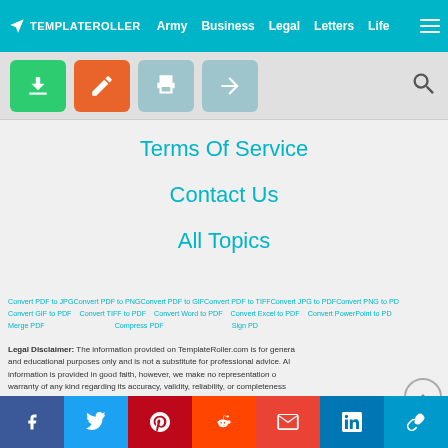TEMPLATEROLLER  Army  Business  Legal  Letters  Life
[Figure (screenshot): Toolbar with download (green), edit (orange), print (gray), share (gray) buttons and search icon]
Terms Of Service
Contact Us
All Topics
Convert PDF to JPG Convert PDF to PNG Convert PDF to GIF Convert PDF to TIFF Convert JPG to PDF Convert PNG to PDF Convert GIF to PDF  Convert TIFF to PDF  Convert Word to PDF  Convert Excel to PDF  Convert PowerPoint to PDF Merge PDF  Compress PDF  Sign PDF
Legal Disclaimer: The information provided on TemplateRoller.com is for general and educational purposes only and is not a substitute for professional advice. All information is provided in good faith, however, we make no representation or warranty of any kind regarding its accuracy, validity, reliability, or completeness. Consult with the appropriate professionals before taking any legal action. TemplateRoller.com will not be liable for loss or damage of any kind incurred as a result of using the information provided on the site.
f  Twitter  Pinterest  Reddit  Gmail  in  Link